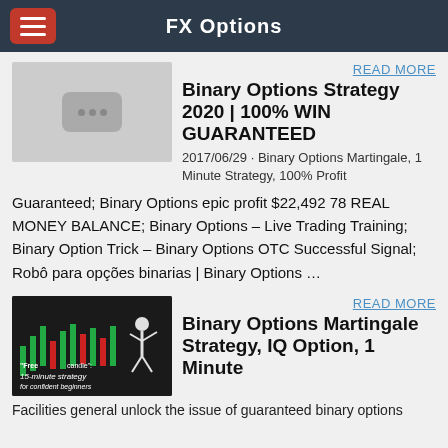FX Options
READ MORE
Binary Options Strategy 2020 | 100% WIN GUARANTEED
2017/06/29 · Binary Options Martingale, 1 Minute Strategy, 100% Profit
Guaranteed; Binary Options epic profit $22,492 78 REAL MONEY BALANCE; Binary Options – Live Trading Training; Binary Option Trick – Binary Options OTC Successful Signal; Robô para opções binarias | Binary Options …
READ MORE
Binary Options Martingale Strategy, IQ Option, 1 Minute
Facilities general unlock the issue of guaranteed binary options